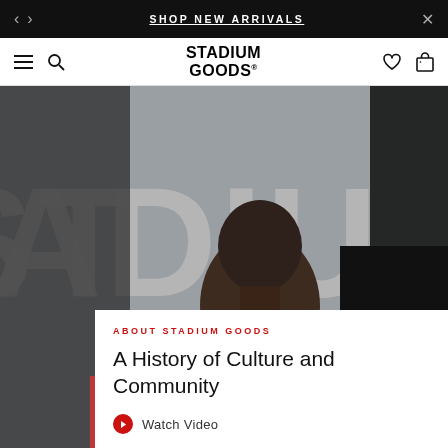SHOP NEW ARRIVALS
STADIUM GOODS
[Figure (photo): Hero image of two men in front of large Stadium Goods text backdrop. Left person wearing black hoodie, right person in black Stadium Goods hoodie. Red and blue clothing visible in foreground.]
ABOUT STADIUM GOODS
A History of Culture and Community
Watch Video